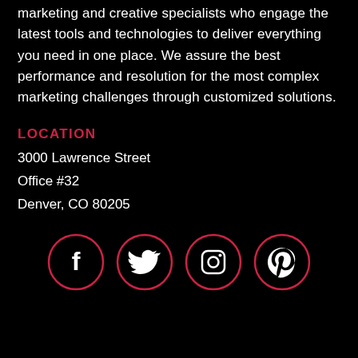marketing and creative specialists who engage the latest tools and technologies to deliver everything you need in one place. We assure the best performance and resolution for the most complex marketing challenges through customized solutions.
LOCATION
3000 Lawrence Street
Office #32
Denver, CO 80205
[Figure (illustration): Four social media icons in circles with pink/red borders: Facebook, Twitter, Instagram, Pinterest]